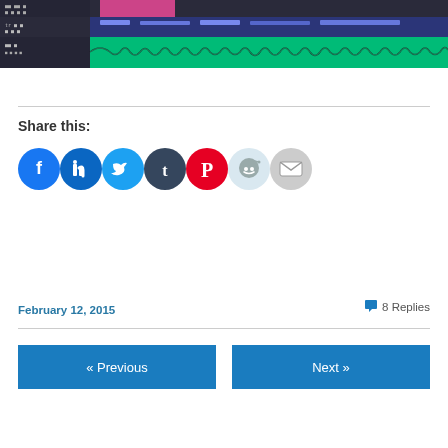[Figure (screenshot): Screenshot of a digital audio workstation (DAW) showing audio tracks with waveforms in green and purple colors]
Share this:
[Figure (infographic): Social sharing icons: Facebook (blue), LinkedIn (teal), Twitter (light blue), Tumblr (dark navy), Pinterest (red), Reddit (light blue/grey), Email (grey)]
February 12, 2015
8 Replies
« Previous
Next »